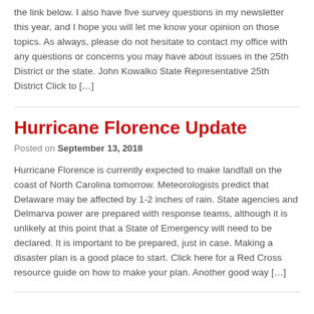the link below. I also have five survey questions in my newsletter this year, and I hope you will let me know your opinion on those topics. As always, please do not hesitate to contact my office with any questions or concerns you may have about issues in the 25th District or the state. John Kowalko State Representative 25th District Click to […]
Hurricane Florence Update
Posted on September 13, 2018
Hurricane Florence is currently expected to make landfall on the coast of North Carolina tomorrow. Meteorologists predict that Delaware may be affected by 1-2 inches of rain. State agencies and Delmarva power are prepared with response teams, although it is unlikely at this point that a State of Emergency will need to be declared. It is important to be prepared, just in case. Making a disaster plan is a good place to start. Click here for a Red Cross resource guide on how to make your plan. Another good way […]
State Legislators From All 50 States Urge End of Investor-State Dispute